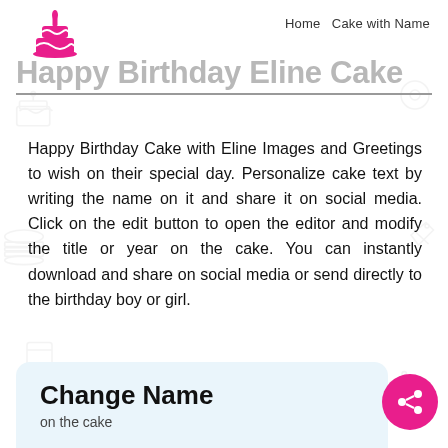Home  Cake with Name
[Figure (illustration): Pink birthday cake icon with candle flame]
Happy Birthday Eline Cake
Happy Birthday Cake with Eline Images and Greetings to wish on their special day. Personalize cake text by writing the name on it and share it on social media. Click on the edit button to open the editor and modify the title or year on the cake. You can instantly download and share on social media or send directly to the birthday boy or girl.
Change Name
on the cake